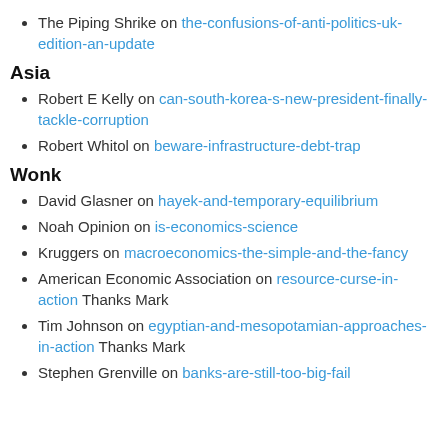The Piping Shrike on the-confusions-of-anti-politics-uk-edition-an-update
Asia
Robert E Kelly on can-south-korea-s-new-president-finally-tackle-corruption
Robert Whitol on beware-infrastructure-debt-trap
Wonk
David Glasner on hayek-and-temporary-equilibrium
Noah Opinion on is-economics-science
Kruggers on macroeconomics-the-simple-and-the-fancy
American Economic Association on resource-curse-in-action Thanks Mark
Tim Johnson on egyptian-and-mesopotamian-approaches-in-action Thanks Mark
Stephen Grenville on banks-are-still-too-big-fail